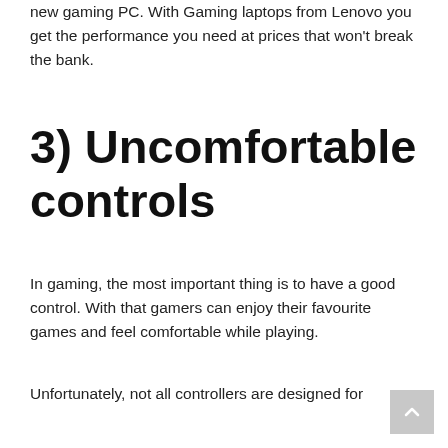new gaming PC. With Gaming laptops from Lenovo you get the performance you need at prices that won't break the bank.
3) Uncomfortable controls
In gaming, the most important thing is to have a good control. With that gamers can enjoy their favourite games and feel comfortable while playing.
Unfortunately, not all controllers are designed for